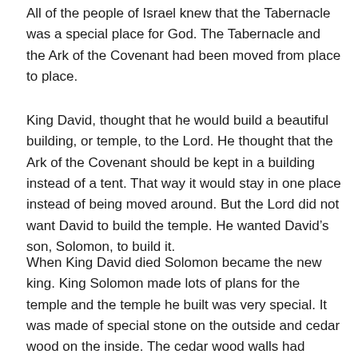All of the people of Israel knew that the Tabernacle was a special place for God. The Tabernacle and the Ark of the Covenant had been moved from place to place.
King David, thought that he would build a beautiful building, or temple, to the Lord. He thought that the Ark of the Covenant should be kept in a building instead of a tent. That way it would stay in one place instead of being moved around. But the Lord did not want David to build the temple. He wanted David's son, Solomon, to build it.
When King David died Solomon became the new king. King Solomon made lots of plans for the temple and the temple he built was very special. It was made of special stone on the outside and cedar wood on the inside. The cedar wood walls had beautiful carvings of angels, palm trees and flowers on them (reminding one of the Garden of Eden). The